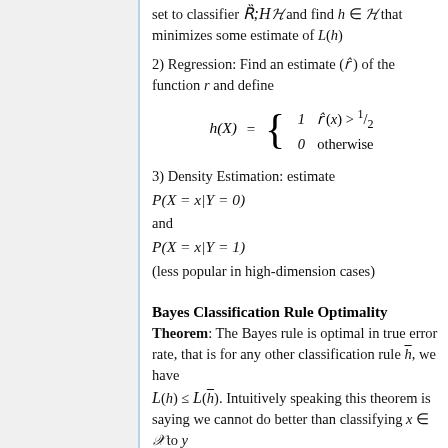set to classifier H and find h ∈ H that minimizes some estimate of L(h)
2) Regression: Find an estimate (r̂) of the function r and define
3) Density Estimation: estimate P(X = x|Y = 0) and P(X = x|Y = 1) (less popular in high-dimension cases)
Bayes Classification Rule Optimality
Theorem: The Bayes rule is optimal in true error rate, that is for any other classification rule h̄, we have L(h) ≤ L(h̄). Intuitively speaking this theorem is saying we cannot do better than classifying x ∈ X to y